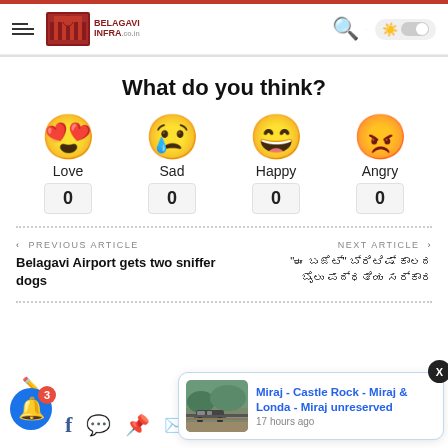Belagavi Infra - navigation bar
What do you think?
[Figure (infographic): Four reaction emojis: Love (heart-eyes), Sad (crying), Happy (laughing), Angry (red angry face), each with a count of 0 below]
PREVIOUS ARTICLE
Belagavi Airport gets two sniffer dogs
NEXT ARTICLE
(Kannada text headline)
[Figure (photo): Notification popup card showing a train on tracks with mountains: Miraj - Castle Rock - Miraj & Londa - Miraj unreserved, 17 hours ago]
Miraj - Castle Rock - Miraj & Londa - Miraj unreserved
17 hours ago